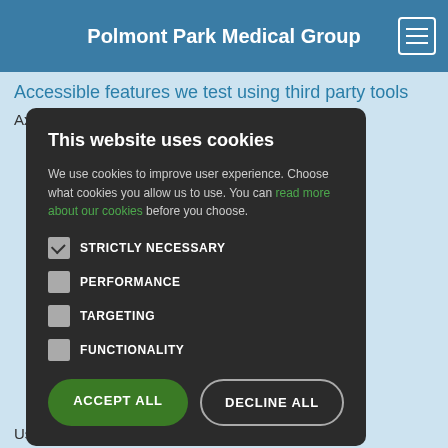Polmont Park Medical Group
Accessible features we test using third party tools
Axe: Web Accessibility Testing
[Figure (screenshot): Cookie consent modal dialog on medical group website with options: Strictly Necessary (checked), Performance, Targeting, Functionality (all unchecked), and buttons Accept All and Decline All]
Useful Numbers